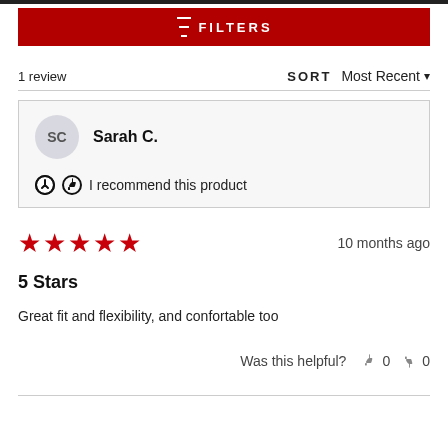FILTERS
1 review   SORT   Most Recent
SC   Sarah C.   I recommend this product
★★★★★   10 months ago
5 Stars
Great fit and flexibility, and confortable too
Was this helpful?   👍 0   👎 0